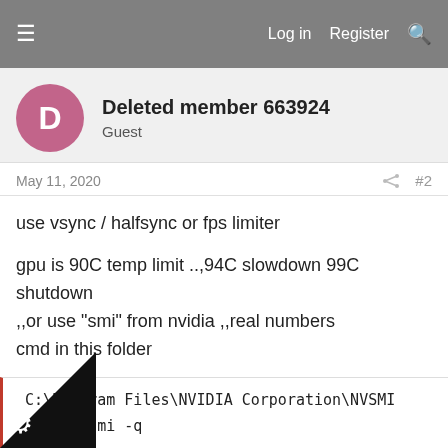Log in   Register
Deleted member 663924
Guest
May 11, 2020   #2
use vsync / halfsync or fps limiter
gpu is 90C temp limit ..,94C slowdown 99C shutdown ,,or use "smi" from nvidia ,,real numbers cmd in this folder
C:\Program Files\NVIDIA Corporation\NVSMI
nvidia-smi -q